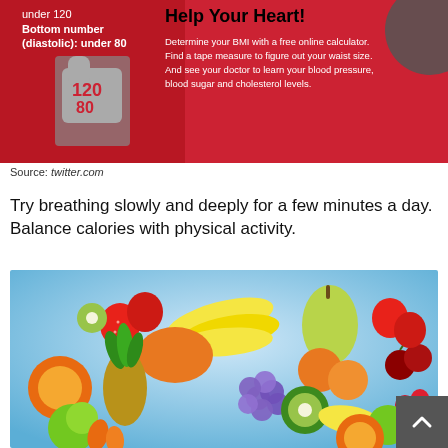[Figure (infographic): Health infographic with red background showing blood pressure info (top number under 120, bottom number diastolic under 80), a thumbs up icon with 120/80, and text 'Help Your Heart! Determine your BMI with a free online calculator. Find a tape measure to figure out your waist size. And see your doctor to learn your blood pressure, blood sugar and cholesterol levels.' with a dark grey circle graphic on the right.]
Source: twitter.com
Try breathing slowly and deeply for a few minutes a day. Balance calories with physical activity.
[Figure (photo): Photo of a colorful assortment of fresh fruits including strawberries, kiwis, bananas, pears, oranges, pineapple, grapes, cherries, apples, mangoes, and more arranged on a blue gradient background.]